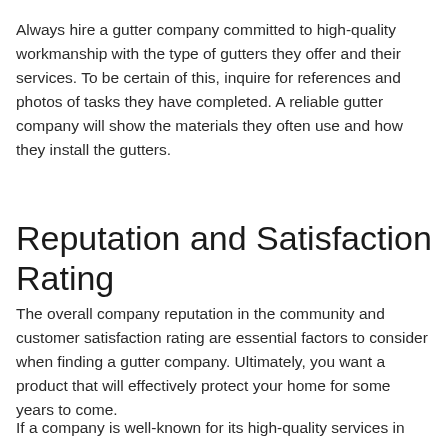Always hire a gutter company committed to high-quality workmanship with the type of gutters they offer and their services. To be certain of this, inquire for references and photos of tasks they have completed. A reliable gutter company will show the materials they often use and how they install the gutters.
Reputation and Satisfaction Rating
The overall company reputation in the community and customer satisfaction rating are essential factors to consider when finding a gutter company. Ultimately, you want a product that will effectively protect your home for some years to come.
If a company is well-known for its high-quality services in the community, you can rest assured that it will give you...